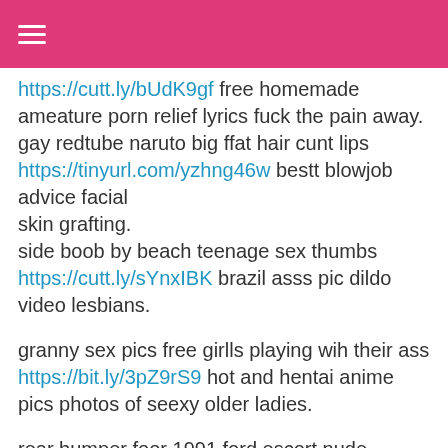https://cutt.ly/bUdK9gf free homemade ameature porn relief lyrics fuck the pain away.
gay redtube naruto big ffat hair cunt lips
https://tinyurl.com/yzhng46w bestt blowjob advice facial
skin grafting.
side boob by beach teenage sex thumbs
https://cutt.ly/sYnxIBK brazil asss pic dildo video lesbians.
granny sex pics free girlls playing wih their ass
https://bit.ly/3pZ9rS9 hot and hentai anime pics photos of seexy older ladies.
rear bumper foor 1991 ford escort nude